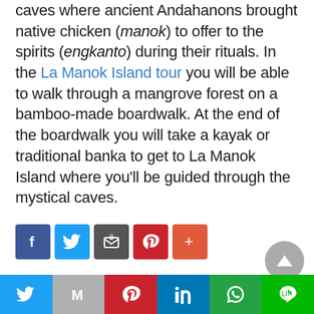caves where ancient Andahanons brought native chicken (manok) to offer to the spirits (engkanto) during their rituals. In the La Manok Island tour you will be able to walk through a mangrove forest on a bamboo-made boardwalk. At the end of the boardwalk you will take a kayak or traditional banka to get to La Manok Island where you'll be guided through the mystical caves.
[Figure (infographic): Social share buttons: Facebook, Twitter, Mail/Share, Pinterest, More]
[Figure (infographic): Scroll to top button (grey circle with up arrow)]
[Figure (infographic): Bottom social bar: Twitter, Mail, Pinterest, LinkedIn, WhatsApp, Line]